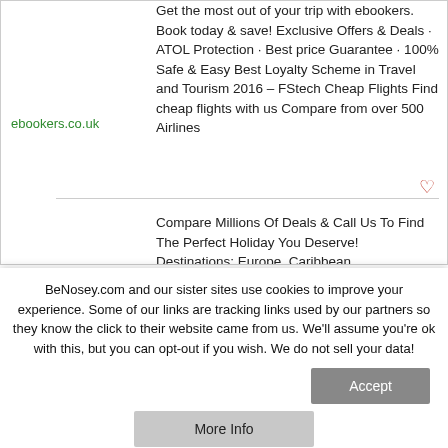Get the most out of your trip with ebookers. Book today & save! Exclusive Offers & Deals · ATOL Protection · Best price Guarantee · 100% Safe & Easy Best Loyalty Scheme in Travel and Tourism 2016 – FStech Cheap Flights Find cheap flights with us Compare from over 500 Airlines
ebookers.co.uk
Compare Millions Of Deals & Call Us To Find The Perfect Holiday You Deserve! Destinations: Europe, Caribbean,
BeNosey.com and our sister sites use cookies to improve your experience. Some of our links are tracking links used by our partners so they know the click to their website came from us. We'll assume you're ok with this, but you can opt-out if you wish. We do not sell your data!